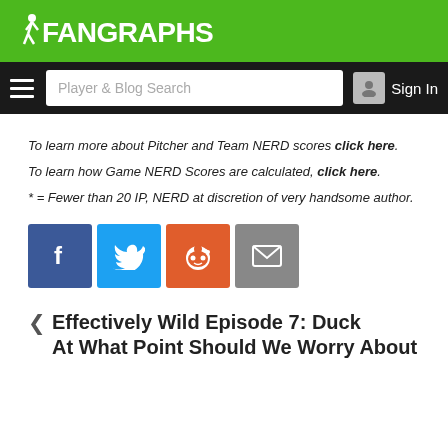FanGraphs
[Figure (screenshot): Navigation bar with hamburger menu, Player & Blog Search input, and Sign In button]
To learn more about Pitcher and Team NERD scores click here.
To learn how Game NERD Scores are calculated, click here.
* = Fewer than 20 IP, NERD at discretion of very handsome author.
[Figure (infographic): Social share buttons: Facebook, Twitter, Reddit, Email]
‹ Effectively Wild Episode 7: Duck At What Point Should We Worry About